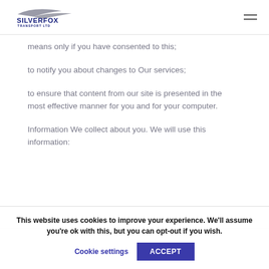Silverfox Transport Ltd
means only if you have consented to this;
to notify you about changes to Our services;
to ensure that content from our site is presented in the most effective manner for you and for your computer.
Information We collect about you. We will use this information:
This website uses cookies to improve your experience. We'll assume you're ok with this, but you can opt-out if you wish.